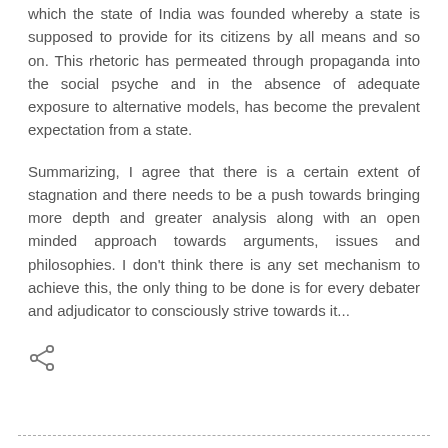which the state of India was founded whereby a state is supposed to provide for its citizens by all means and so on. This rhetoric has permeated through propaganda into the social psyche and in the absence of adequate exposure to alternative models, has become the prevalent expectation from a state.
Summarizing, I agree that there is a certain extent of stagnation and there needs to be a push towards bringing more depth and greater analysis along with an open minded approach towards arguments, issues and philosophies. I don't think there is any set mechanism to achieve this, the only thing to be done is for every debater and adjudicator to consciously strive towards it...
[Figure (other): Share icon (less-than angle bracket style share symbol)]